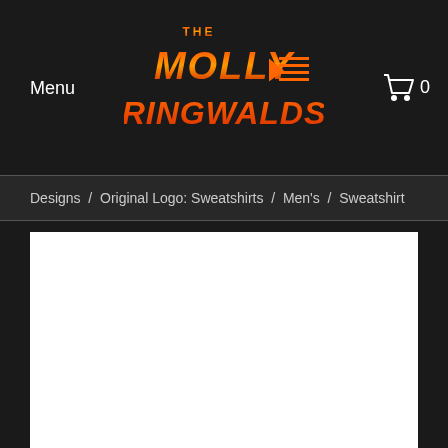Menu
[Figure (logo): The Molly Ringwalds band logo in orange/red gradient with retro 80s style lettering on dark background]
[Figure (other): Shopping cart icon with number 0]
Designs / Original Logo: Sweatshirts / Men's / Sweatshirt
[Figure (photo): White product image area (blank/loading)]